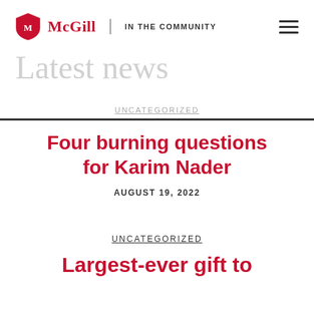McGill | IN THE COMMUNITY
Latest news
UNCATEGORIZED
Four burning questions for Karim Nader
AUGUST 19, 2022
UNCATEGORIZED
Largest-ever gift to